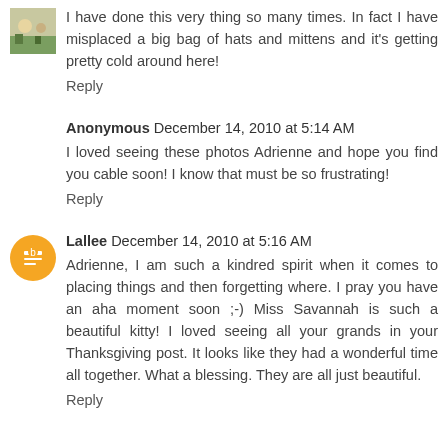I have done this very thing so many times. In fact I have misplaced a big bag of hats and mittens and it's getting pretty cold around here!
Reply
Anonymous December 14, 2010 at 5:14 AM
I loved seeing these photos Adrienne and hope you find you cable soon! I know that must be so frustrating!
Reply
Lallee December 14, 2010 at 5:16 AM
Adrienne, I am such a kindred spirit when it comes to placing things and then forgetting where. I pray you have an aha moment soon ;-) Miss Savannah is such a beautiful kitty! I loved seeing all your grands in your Thanksgiving post. It looks like they had a wonderful time all together. What a blessing. They are all just beautiful.
Reply